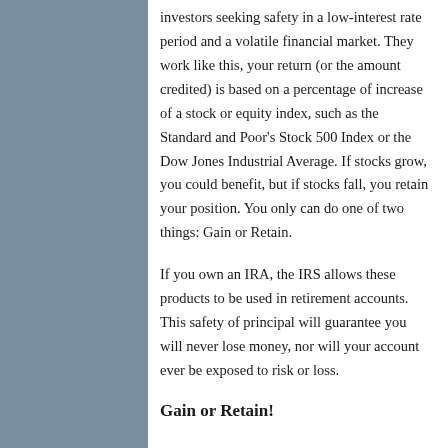investors seeking safety in a low-interest rate period and a volatile financial market. They work like this, your return (or the amount credited) is based on a percentage of increase of a stock or equity index, such as the Standard and Poor's Stock 500 Index or the Dow Jones Industrial Average. If stocks grow, you could benefit, but if stocks fall, you retain your position. You only can do one of two things: Gain or Retain.
If you own an IRA, the IRS allows these products to be used in retirement accounts. This safety of principal will guarantee you will never lose money, nor will your account ever be exposed to risk or loss.
Gain or Retain!